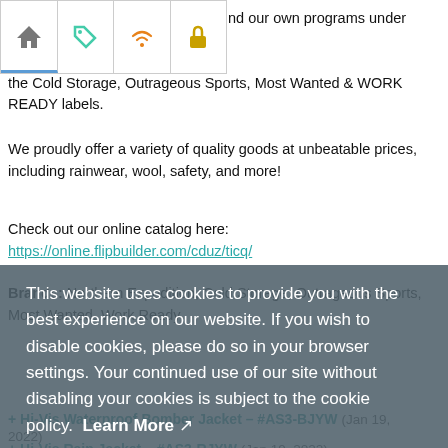[Figure (screenshot): Navigation bar with home, tag/price, wifi, and lock icons at top left of page]
nd our own programs under the Cold Storage, Outrageous Sports, Most Wanted & WORK READY labels.
We proudly offer a variety of quality goods at unbeatable prices, including rainwear, wool, safety, and more!
Check out our online catalog here: https://online.flipbuilder.com/cduz/ticq/
Brands: Northern Expedition, Cold Storage, Outrageous Sports, Most Wanted, Work Ready
This website uses cookies to provide you with the best experience on our website. If you wish to disable cookies, please do so in your browser settings. Your continued use of our site without disabling your cookies is subject to the cookie policy. Learn More
I agree
+ Hi-Vis Waterproof Bomber Jacket - #AS3-BJYW (Jan 19, 2022)
+ Hi-Vis Rain Jacket - #AS3-RJYW (Jan 19, 2022)
+ Hi-Vis Builder Vest - #AS2-BVYW (Jan 19, 2022)
+ Heather Pocket T-Shirt - #M220-A (Jan 19, 2022)